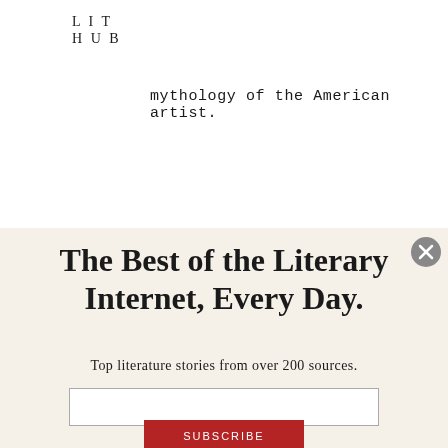LIT HUB
mythology of the American artist.
The Best of the Literary Internet, Every Day.
Top literature stories from over 200 sources.